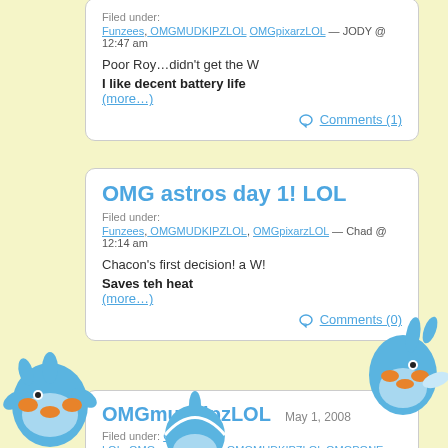Funzees, OMGMUDKIPZLOL, OMGpixarzLOL — JODY @ 12:47 am
Poor Roy...didn't get the W
I like decent battery life
(more…)
Comments (1)
OMG astros day 1! LOL
Filed under: Funzees, OMGMUDKIPZLOL, OMGpixarzLOL — Chad @ 12:14 am
Chacon's first decision! a W!
Saves teh heat
(more…)
Comments (0)
OMGmudkipzLOL  May 1, 2008
Filed under: OMG WTF LOL, OMGmacbookLOL, OMGMUDKIPZLOL, OMGPONE… — Chad @ 12:34 am
[Figure (illustration): Cartoon blue Mudkip Pokemon characters appearing around the blog cards]